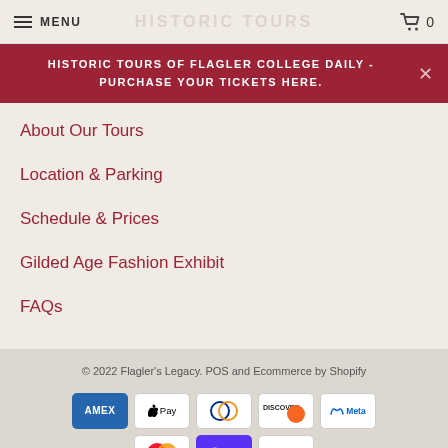MENU  HISTORIC TOURS  0
HISTORIC TOURS OF FLAGLER COLLEGE DAILY - PURCHASE YOUR TICKETS HERE.
About Our Tours
Location & Parking
Schedule & Prices
Gilded Age Fashion Exhibit
FAQs
© 2022 Flagler's Legacy. POS and Ecommerce by Shopify